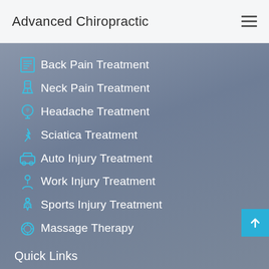Advanced Chiropractic
Back Pain Treatment
Neck Pain Treatment
Headache Treatment
Sciatica Treatment
Auto Injury Treatment
Work Injury Treatment
Sports Injury Treatment
Massage Therapy
Quick Links